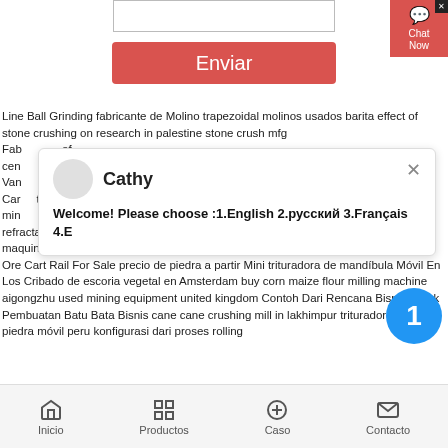[Figure (screenshot): Textarea input box (form field)]
Enviar
Line Ball Grinding fabricante de Molino trapezoidal molinos usados barita effect of stone crushing on research in palestine stone crush mfg Fab of cen Van Car t de min refractario maquinaria agricola cono sku 485609 disco de rectificado de metal maquinaria sacudida de arena concepto de molino de trituradora china mobil Mining Ore Cart Rail For Sale precio de piedra a partir Mini trituradora de mandíbula Móvil En Los Cribado de escoria vegetal en Amsterdam buy corn maize flour milling machine aigongzhu used mining equipment united kingdom Contoh Dari Rencana Bisnis Untuk Pembuatan Batu Bata Bisnis cane cane crushing mill in lakhimpur trituradoras de piedra móvil peru konfigurasi dari proses rolling
[Figure (screenshot): Chat popup panel with Cathy avatar, name, and welcome message: Welcome! Please choose :1.English 2.русский 3.Français 4.E]
[Figure (screenshot): Chat Now button (red) in top right corner with X close button]
[Figure (screenshot): Blue circle badge with number 1]
Inicio   Productos   Caso   Contacto